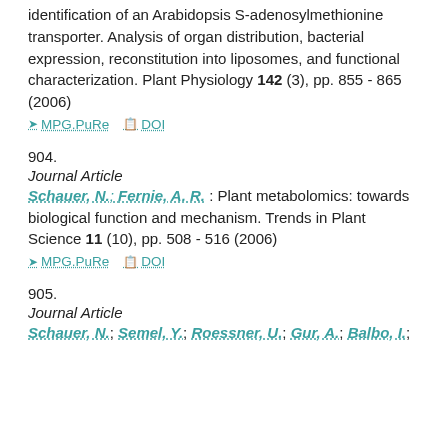identification of an Arabidopsis S-adenosylmethionine transporter. Analysis of organ distribution, bacterial expression, reconstitution into liposomes, and functional characterization. Plant Physiology 142 (3), pp. 855 - 865 (2006)
MPG.PuRe   DOI
904.
Journal Article
Schauer, N.; Fernie, A. R.: Plant metabolomics: towards biological function and mechanism. Trends in Plant Science 11 (10), pp. 508 - 516 (2006)
MPG.PuRe   DOI
905.
Journal Article
Schauer, N.; Semel, Y.; Roessner, U.; Gur, A.; Balbo, I.;